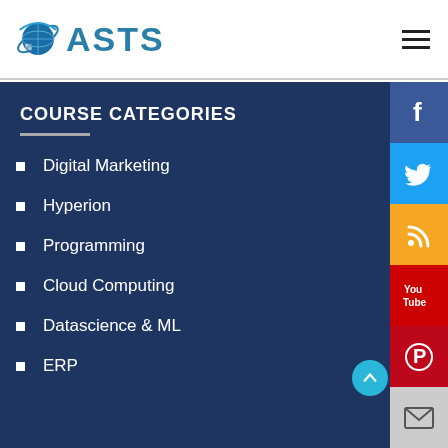ASTS
COURSE CATEGORIES
Digital Marketing
Hyperion
Programming
Cloud Computing
Datascience & ML
ERP